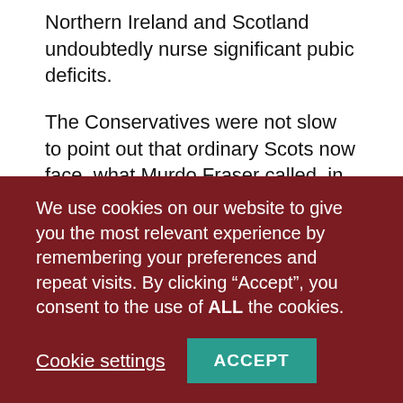Northern Ireland and Scotland undoubtedly nurse significant pubic deficits.
The Conservatives were not slow to point out that ordinary Scots now face, what Murdo Fraser called, in an impressive speech, a “triple tax bombshell” – a higher standard tax rate than promised; higher Council taxes than promised and a new tax on workplace parking.
The SNP had promised in the 2016 election to not increase the standard rate of tax but now those paying
We use cookies on our website to give you the most relevant experience by remembering your preferences and repeat visits. By clicking “Accept”, you consent to the use of ALL the cookies.
Cookie settings
ACCEPT